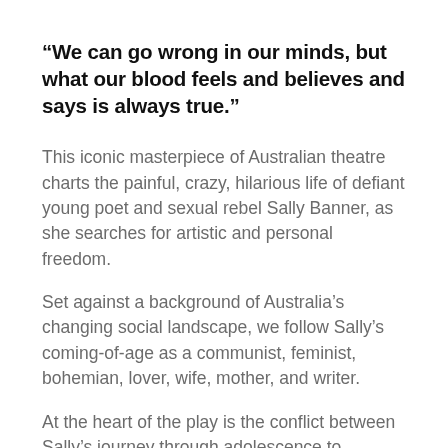“We can go wrong in our minds, but what our blood feels and believes and says is always true.”
This iconic masterpiece of Australian theatre charts the painful, crazy, hilarious life of defiant young poet and sexual rebel Sally Banner, as she searches for artistic and personal freedom.
Set against a background of Australia’s changing social landscape, we follow Sally’s coming-of-age as a communist, feminist, bohemian, lover, wife, mother, and writer.
At the heart of the play is the conflict between Sally’s journey through adolescence to